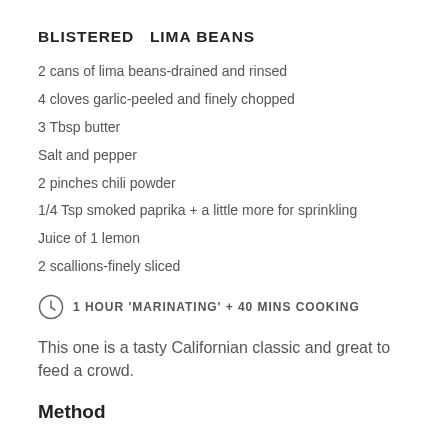BLISTERED   LIMA BEANS
2 cans of lima beans-drained and rinsed
4 cloves garlic-peeled and finely chopped
3 Tbsp butter
Salt and pepper
2 pinches chili powder
1/4 Tsp smoked paprika + a little more for sprinkling
Juice of 1 lemon
2 scallions-finely sliced
1 HOUR 'MARINATING' + 40 MINS COOKING
This one is a tasty Californian classic and great to feed a crowd.
Method